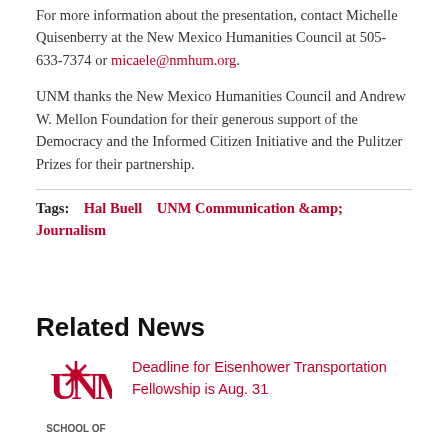For more information about the presentation, contact Michelle Quisenberry at the New Mexico Humanities Council at 505-633-7374 or micaele@nmhum.org.
UNM thanks the New Mexico Humanities Council and Andrew W. Mellon Foundation for their generous support of the Democracy and the Informed Citizen Initiative and the Pulitzer Prizes for their partnership.
Tags: Hal Buell   UNM Communication &amp; Journalism
Related News
Deadline for Eisenhower Transportation Fellowship is Aug. 31